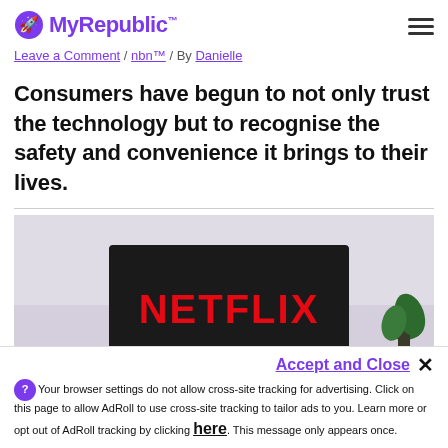MyRepublic
Leave a Comment / nbn™ / By Danielle
Consumers have begun to not only trust the technology but to recognise the safety and convenience it brings to their lives.
[Figure (photo): A Netflix logo in orange text on a dark background, partially visible, with a plant in the background]
Accept and Close ✕ Your browser settings do not allow cross-site tracking for advertising. Click on this page to allow AdRoll to use cross-site tracking to tailor ads to you. Learn more or opt out of AdRoll tracking by clicking here. This message only appears once.